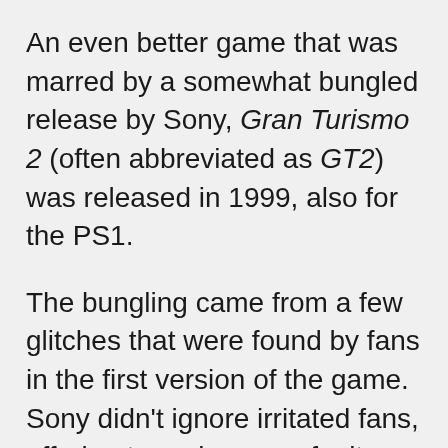An even better game that was marred by a somewhat bungled release by Sony, Gran Turismo 2 (often abbreviated as GT2) was released in 1999, also for the PS1.
The bungling came from a few glitches that were found by fans in the first version of the game. Sony didn't ignore irritated fans, offering to replace any faulty unit. But it was the kind of problem that led critics to wonder what might have been if the release of the best racing game ever made hadn't been rushed.
Glitches found in version 1.0 of the game include only being able to achieve a 98.2% completion...